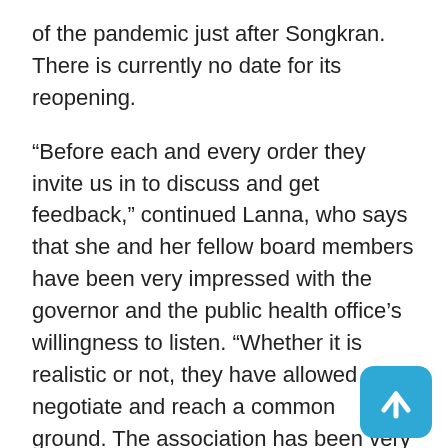of the pandemic just after Songkran. There is currently no date for its reopening.
“Before each and every order they invite us in to discuss and get feedback,” continued Lanna, who says that she and her fellow board members have been very impressed with the governor and the public health office’s willingness to listen. “Whether it is realistic or not, they have allowed us to negotiate and reach a common ground. The association has been very actively involved in decision making and has had a positive impact on policies.”
Lanna went on to explain that before the third wave hit the association was making plans for the future, in hopes of reviving the entire industry post-
[Figure (illustration): Blue rounded square icon with white upward arrow, positioned at bottom right corner]